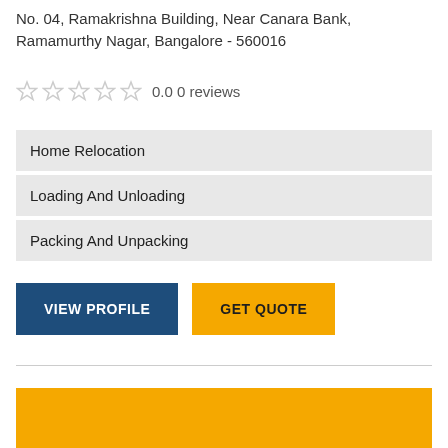No. 04, Ramakrishna Building, Near Canara Bank, Ramamurthy Nagar, Bangalore - 560016
0.0 0 reviews
Home Relocation
Loading And Unloading
Packing And Unpacking
VIEW PROFILE
GET QUOTE
[Figure (other): Yellow/gold colored banner block at the bottom of the page]